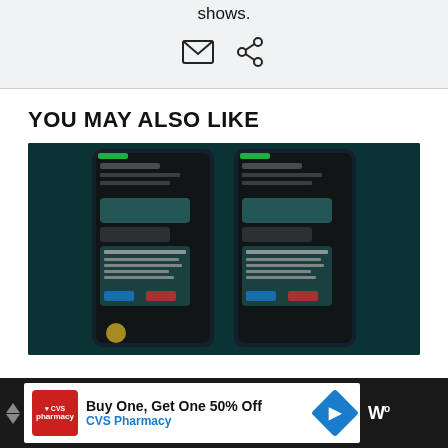shows.
[Figure (illustration): Email and link/share icons]
YOU MAY ALSO LIKE
[Figure (screenshot): Two smartphone screens side by side showing WhatsApp-like message deletion dialogs on a dark teal background]
[Figure (illustration): CVS Pharmacy advertisement bar: Buy One, Get One 50% Off - CVS Pharmacy, with logo and directional arrow icon]